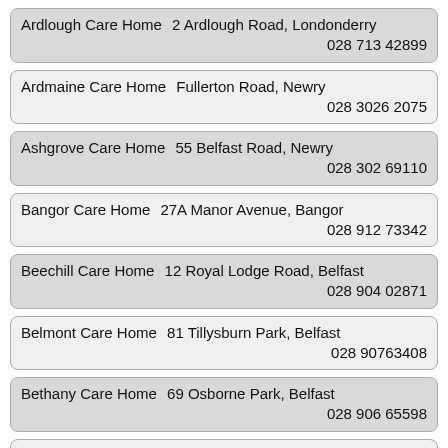Ardlough Care Home   2 Ardlough Road, Londonderry   028 713 42899
Ardmaine Care Home   Fullerton Road, Newry   028 3026 2075
Ashgrove Care Home   55 Belfast Road, Newry   028 302 69110
Bangor Care Home   27A Manor Avenue, Bangor   028 912 73342
Beechill Care Home   12 Royal Lodge Road, Belfast   028 904 02871
Belmont Care Home   81 Tillysburn Park, Belfast   028 90763408
Bethany Care Home   69 Osborne Park, Belfast   028 906 65598
Camphill Care Home   62 Toome Road, Ballymena